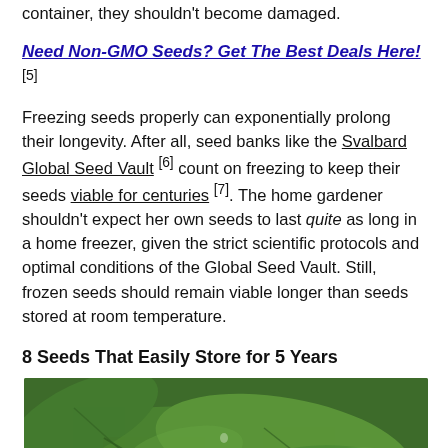container, they shouldn't become damaged.
Need Non-GMO Seeds? Get The Best Deals Here! [5]
Freezing seeds properly can exponentially prolong their longevity. After all, seed banks like the Svalbard Global Seed Vault [6] count on freezing to keep their seeds viable for centuries [7]. The home gardener shouldn't expect her own seeds to last quite as long in a home freezer, given the strict scientific protocols and optimal conditions of the Global Seed Vault. Still, frozen seeds should remain viable longer than seeds stored at room temperature.
8 Seeds That Easily Store for 5 Years
[Figure (photo): Close-up photo of green leaves or vegetable plant with water droplets]